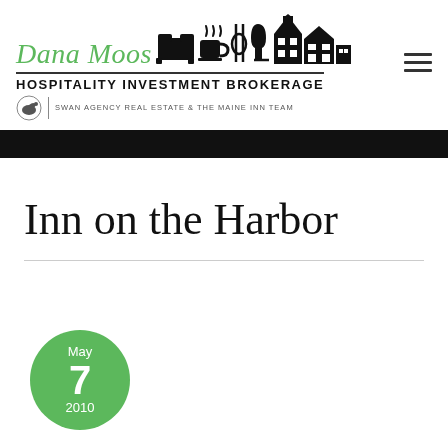[Figure (logo): Dana Moos Hospitality Investment Brokerage logo with Swan Agency Real Estate & The Maine Inn Team]
Inn on the Harbor
May 7 2010